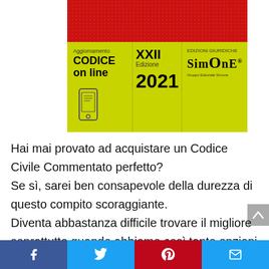[Figure (illustration): Book cover for 'Codice Civile Commentato' XXII Edizione 2021 by Simone publisher. Top half is red with dot pattern, bottom half is yellow-green with text 'Aggiornamento CODICE on line', phone icon, XXII Edizione 2021 text, and Simone logo.]
Hai mai provato ad acquistare un Codice Civile Commentato perfetto? Se sì, sarei ben consapevole della durezza di questo compito scoraggiante. Diventa abbastanza difficile trovare il migliore soprattutto quando abbiamo così tante opzioni disponibili. Sai qual è la parte peggiore di questa situazione? Tutto sembra essere così identico; non riusciamo
Facebook | Twitter | Pinterest | Email